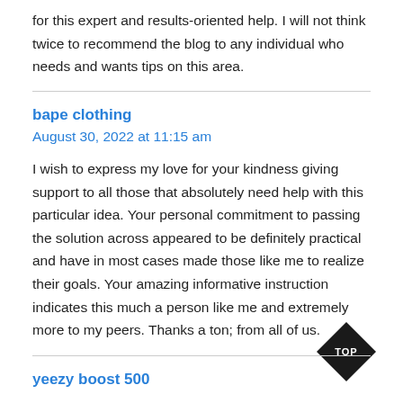for this expert and results-oriented help. I will not think twice to recommend the blog to any individual who needs and wants tips on this area.
bape clothing
August 30, 2022 at 11:15 am
I wish to express my love for your kindness giving support to all those that absolutely need help with this particular idea. Your personal commitment to passing the solution across appeared to be definitely practical and have in most cases made those like me to realize their goals. Your amazing informative instruction indicates this much a person like me and extremely more to my peers. Thanks a ton; from all of us.
[Figure (illustration): Black diamond-shaped TOP button/badge in bottom right corner]
yeezy boost 500